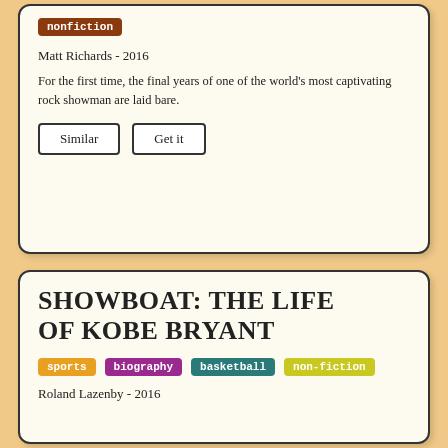nonfiction
Matt Richards - 2016
For the first time, the final years of one of the world's most captivating rock showman are laid bare.
Similar | Get it
Showboat: The Life of Kobe Bryant
sports  biography  basketball  non-fiction
Roland Lazenby - 2016